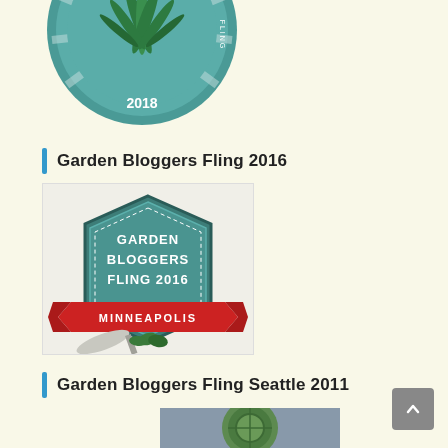[Figure (logo): Garden Bloggers Fling 2018 circular logo with green plant leaves and radiating rays on teal background]
Garden Bloggers Fling 2016
[Figure (logo): Garden Bloggers Fling 2016 Minneapolis badge logo - hexagonal teal badge with red Minneapolis ribbon banner and garden trowel]
Garden Bloggers Fling Seattle 2011
[Figure (photo): Partial photo of a decorative garden item, possibly a green ornament or figurine]